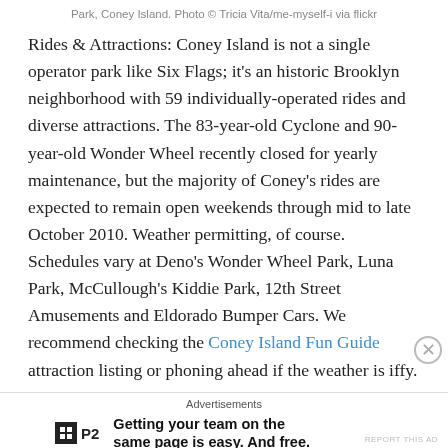Park, Coney Island. Photo © Tricia Vita/me-myself-i via flickr
Rides & Attractions: Coney Island is not a single operator park like Six Flags; it's an historic Brooklyn neighborhood with 59 individually-operated rides and diverse attractions. The 83-year-old Cyclone and 90-year-old Wonder Wheel recently closed for yearly maintenance, but the majority of Coney's rides are expected to remain open weekends through mid to late October 2010. Weather permitting, of course. Schedules vary at Deno's Wonder Wheel Park, Luna Park, McCullough's Kiddie Park, 12th Street Amusements and Eldorado Bumper Cars. We recommend checking the Coney Island Fun Guide attraction listing or phoning ahead if the weather is iffy.
Advertisements
Getting your team on the same page is easy. And free.